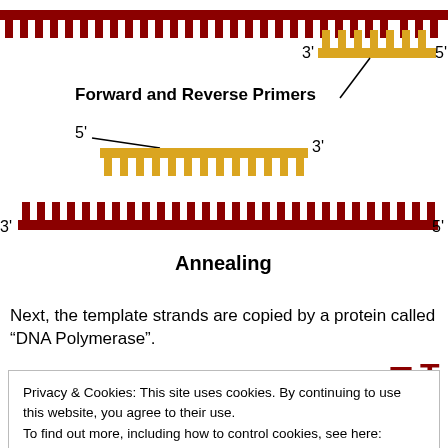[Figure (illustration): Diagram of PCR annealing step showing forward and reverse primers binding to template DNA strands. Top: red template strand with gold/yellow reverse primer attached on right side labeled 3' and 5'. Bottom: red template strand (3' to 5') with gold/yellow forward primer attached on left side labeled 5' and 3'. Label 'Forward and Reverse Primers' with line pointing to primers. Label 'Annealing' below the diagram.]
Next, the template strands are copied by a protein called "DNA Polymerase".
[Figure (illustration): Illustration showing DNA Polymerase label with arrow pointing to a dark blue semicircle (the enzyme), with two red T nucleotide symbols floating nearby.]
Privacy & Cookies: This site uses cookies. By continuing to use this website, you agree to their use.
To find out more, including how to control cookies, see here: Cookie Policy
process is repeated. For a PCR reaction used for